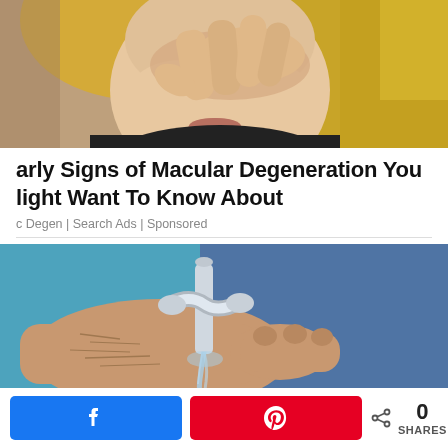[Figure (photo): Young blonde woman touching her eye with her finger, appearing to have eye discomfort]
arly Signs of Macular Degeneration You light Want To Know About
c Degen | Search Ads | Sponsored
[Figure (photo): Close-up of elderly hands with water running from a faucet over a modern faucet handle]
0 SHARES